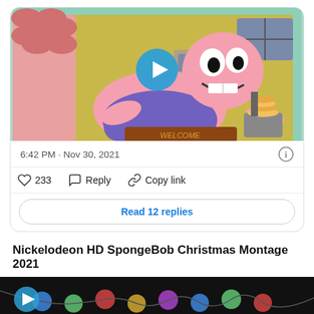[Figure (screenshot): Twitter/X post card showing a SpongeBob animated video thumbnail with Patrick Star on a welcome mat, a blue play button overlay, timestamp '6:42 PM · Nov 30, 2021', like count 233, Reply and Copy link actions, and a 'Read 12 replies' button.]
6:42 PM · Nov 30, 2021
233   Reply   Copy link
Read 12 replies
Nickelodeon HD SpongeBob Christmas Montage 2021
[Figure (screenshot): Bottom strip of a dark video thumbnail with colorful lights, partially visible.]